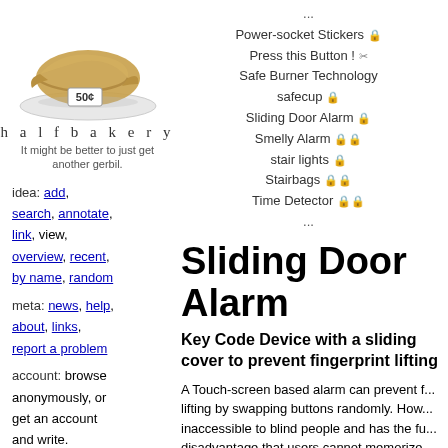[Figure (photo): Croissant on a white plate with a '50¢' price tag]
h a l f b a k e r y
It might be better to just get another gerbil.
idea: add, search, annotate, link, view, overview, recent, by name, random
meta: news, help, about, links, report a problem
account: browse anonymously, or get an account and write.
...
Power-socket Stickers
Press this Button !
Safe Burner Technology
safecup
Sliding Door Alarm
Smelly Alarm
stair lights
Stairbags
Time Detector
...
Sliding Door Alarm
Key Code Device with a sliding cover to prevent fingerprint lifting
A Touch-screen based alarm can prevent fingerprint lifting by swapping buttons randomly. However, it is inaccessible to blind people and has the further disadvantage that users cannot memorize the motion used to deactivate the alarm. There...